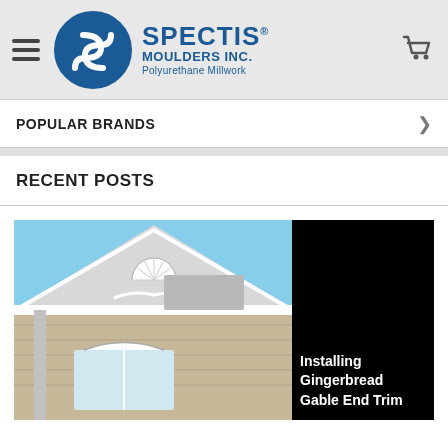SPECTIS MOULDERS INC. Polyurethane Millwork
POPULAR BRANDS
RECENT POSTS
[Figure (photo): Photo of a house gable end with decorative white polyurethane millwork trim including a fanlight and gingerbread details, against a blue sky. Right side has a black overlay panel with white bold text reading 'Installing Gingerbread Gable End Trim'.]